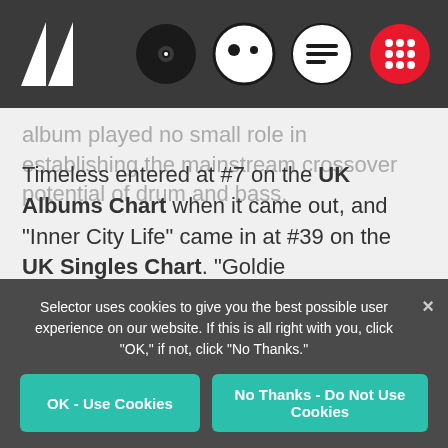[Figure (screenshot): Navigation bar with Selector logo (two triangles) on left and four circular icons on right: black vinyl record, face icon, chat bubble, red grid icon]
album played no small role in establishing the mainstream crossover potential of drum and bass.
Timeless entered at #7 on the UK Albums Chart when it came out, and "Inner City Life" came in at #39 on the UK Singles Chart. "Goldie revolutionized jungle not once but thrice," wrote Simon Reynolds in a 1994 issue of The Wire. "First there was 'Terminator' (pioneering the use of time stretching), then 'Angel' (fusing Diane
Selector uses cookies to give you the best possible user experience on our website. If this is all right with you, click "OK," if not, click "No Thanks."